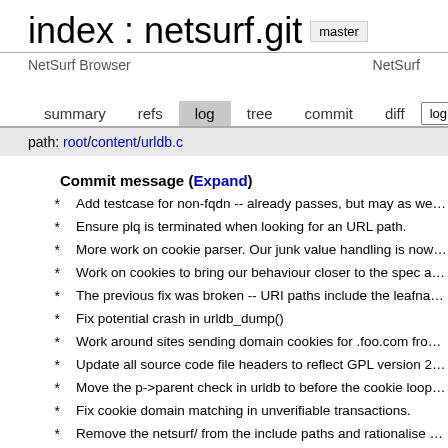index : netsurf.git
NetSurf Browser   NetSurf
summary   refs   log   tree   commit   diff   log msg
path: root/content/urldb.c
Commit message (Expand)
* Add testcase for non-fqdn -- already passes, but may as well ke
* Ensure plq is terminated when looking for an URL path.
* More work on cookie parser. Our junk value handling is now sig
* Work on cookies to bring our behaviour closer to the spec and c
* The previous fix was broken -- URI paths include the leafname.
* Fix potential crash in urldb_dump()
* Work around sites sending domain cookies for .foo.com from ho
* Update all source code file headers to reflect GPL version 2 onl
* Move the p->parent check in urldb to before the cookie loop. Pr
* Fix cookie domain matching in unverifiable transactions.
* Remove the netsurf/ from the include paths and rationalise use
* Fix warning: field precision should have type 'int', but argument
* 1) Fix corruption of history data structure on cloning
* Squash memory leak
* Make GTK build compile on FreeBSD.